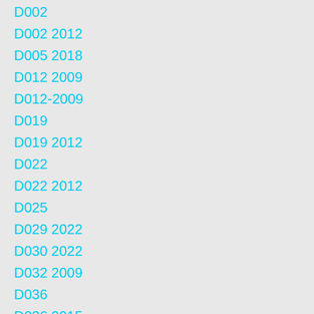D002
D002 2012
D005 2018
D012 2009
D012-2009
D019
D019 2012
D022
D022 2012
D025
D029 2022
D030 2022
D032 2009
D036
D036 2015
D036 2018
D037 2015
D039 2009
D066 2022